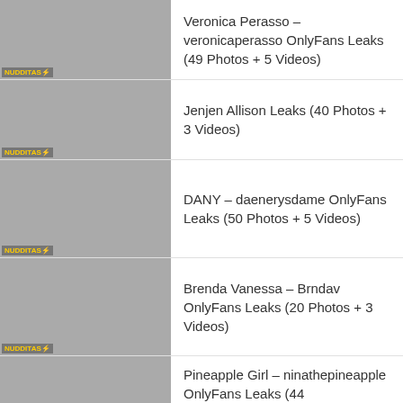Veronica Perasso – veronicaperasso OnlyFans Leaks (49 Photos + 5 Videos)
Jenjen Allison Leaks (40 Photos + 3 Videos)
DANY – daenerysdame OnlyFans Leaks (50 Photos + 5 Videos)
Brenda Vanessa – Brndav OnlyFans Leaks (20 Photos + 3 Videos)
Pineapple Girl – ninathepineapple OnlyFans Leaks (44 Photos + Videos)